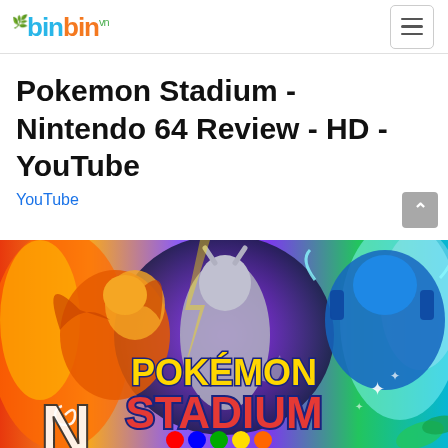binbin
Pokemon Stadium - Nintendo 64 Review - HD - YouTube
YouTube
[Figure (photo): Pokemon Stadium Nintendo 64 game cover art showing Charizard, Mewtwo, Blastoise, and other Pokemon with colorful rainbow background and the Pokemon Stadium logo in yellow and red letters.]